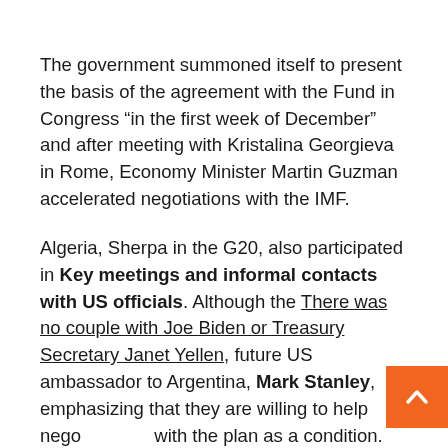The government summoned itself to present the basis of the agreement with the Fund in Congress “in the first week of December” and after meeting with Kristalina Georgieva in Rome, Economy Minister Martin Guzman accelerated negotiations with the IMF.
Algeria, Sherpa in the G20, also participated in Key meetings and informal contacts with US officials. Although the There was no couple with Joe Biden or Treasury Secretary Janet Yellen, future US ambassador to Argentina, Mark Stanley, emphasizing that they are willing to help nego with the plan as a condition.